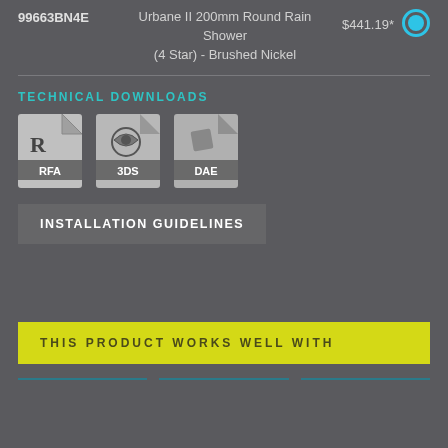99663BN4E   Urbane II 200mm Round Rain Shower (4 Star) - Brushed Nickel   $441.19*
TECHNICAL DOWNLOADS
[Figure (illustration): Three file format icons: RFA, 3DS, DAE]
INSTALLATION GUIDELINES
THIS PRODUCT WORKS WELL WITH